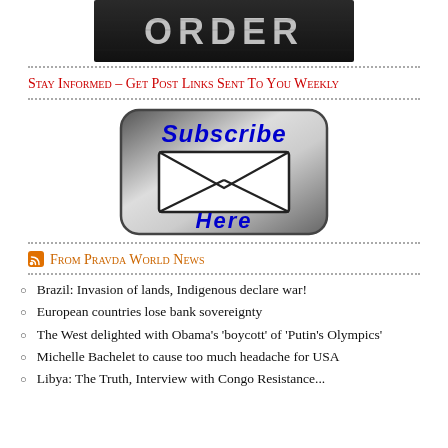[Figure (photo): Dark image showing the word ORDER in large graffiti-style letters on a dark background, partially visible at top]
Stay Informed – Get Post Links Sent To You Weekly
[Figure (illustration): Subscribe button graphic: rounded rectangle with gradient from dark edges to light center, blue italic text 'Subscribe' at top, envelope/mail icon in center, blue italic text 'Here' at bottom]
From Pravda World News
Brazil: Invasion of lands, Indigenous declare war!
European countries lose bank sovereignty
The West delighted with Obama's 'boycott' of 'Putin's Olympics'
Michelle Bachelet to cause too much headache for USA
Libya: The Truth, Interview with Congo Resistance...